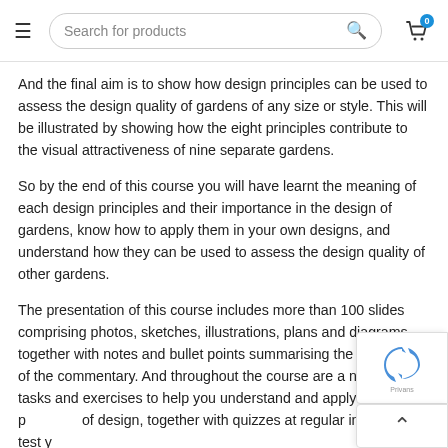Search for products
And the final aim is to show how design principles can be used to assess the design quality of gardens of any size or style. This will be illustrated by showing how the eight principles contribute to the visual attractiveness of nine separate gardens.
So by the end of this course you will have learnt the meaning of each design principles and their importance in the design of gardens, know how to apply them in your own designs, and understand how they can be used to assess the design quality of other gardens.
The presentation of this course includes more than 100 slides comprising photos, sketches, illustrations, plans and diagrams, together with notes and bullet points summarising the main points of the commentary. And throughout the course are a number of tasks and exercises to help you understand and apply the principles of design, together with quizzes at regular intervals to test your knowledge of what has already taught.